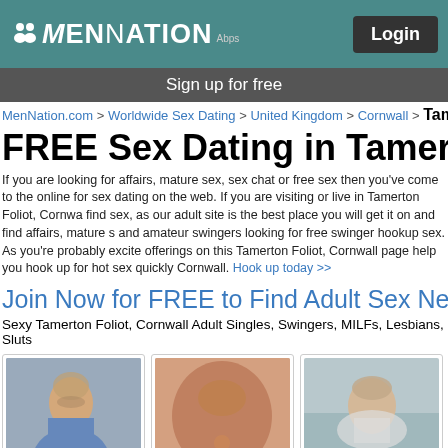MenNation.com — Login
Sign up for free
MenNation.com > Worldwide Sex Dating > United Kingdom > Cornwall > Tamer
FREE Sex Dating in Tamerton F
If you are looking for affairs, mature sex, sex chat or free sex then you've come to the online for sex dating on the web. If you are visiting or live in Tamerton Foliot, Cornwa find sex, as our adult site is the best place you will get it on and find affairs, mature s and amateur swingers looking for free swinger hookup sex. As you're probably excite offerings on this Tamerton Foliot, Cornwall page help you hook up for hot sex quickly Cornwall. Hook up today >>
Join Now for FREE to Find Adult Sex Near Tar
Sexy Tamerton Foliot, Cornwall Adult Singles, Swingers, MILFs, Lesbians, Sluts
[Figure (photo): Profile photo of user hornyman2057]
[Figure (photo): Profile photo of user martywt96]
[Figure (photo): Profile photo of user Sunshine4629]